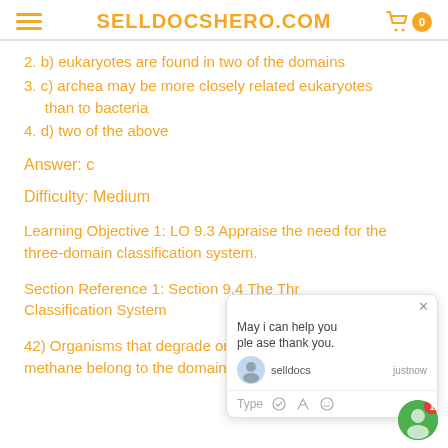SELLDOCSHERO.COM
2. b) eukaryotes are found in two of the domains
3. c) archea may be more closely related eukaryotes than to bacteria
4. d) two of the above
Answer: c
Difficulty: Medium
Learning Objective 1: LO 9.3 Appraise the need for the three-domain classification system.
Section Reference 1: Section 9.4 The Three-Domain Classification System
42) Organisms that degrade organic molecules to methane belong to the domain ____.